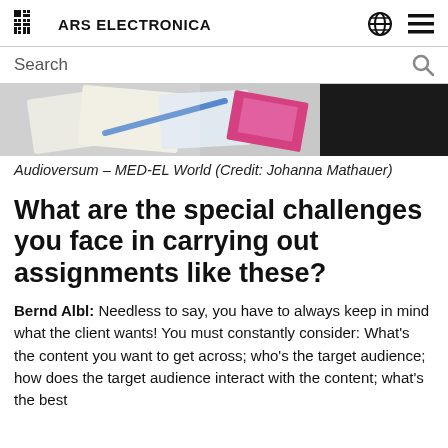ARS ELECTRONICA
[Figure (photo): Partial view of a desk with documents and colorful items, top portion cropped, dark background on right side — Audioversum MED-EL World exhibition photo]
Audioversum – MED-EL World (Credit: Johanna Mathauer)
What are the special challenges you face in carrying out assignments like these?
Bernd Albl: Needless to say, you have to always keep in mind what the client wants! You must constantly consider: What's the content you want to get across; who's the target audience; how does the target audience interact with the content; what's the best